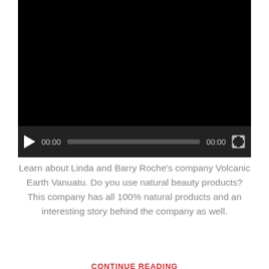[Figure (screenshot): Video player with black screen, playback controls showing play button, 00:00 timestamp, progress bar, end time 00:00, and fullscreen button]
Learn about Linda and Barry Roche's company Volcanic Earth Vanuatu. Do you use natural beauty products? This company has all 100% natural products and an interesting story behind the company as well.
CONTINUE READING
COMMUNITY NEWS AND EVENTS
Get to Know Your Musika Brands Ginny Edmunds
Karly Ekman  0